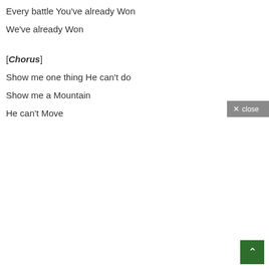Every battle You've already Won
We've already Won
[Chorus]
Show me one thing He can't do
Show me a Mountain
He can't Move